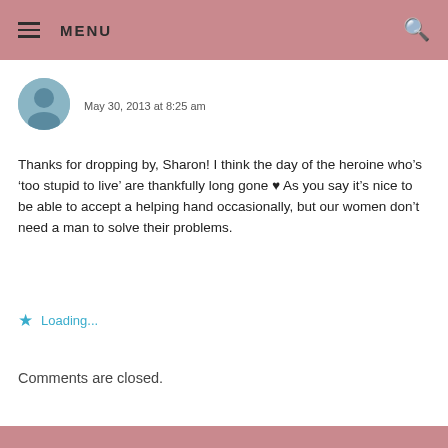MENU
May 30, 2013 at 8:25 am
Thanks for dropping by, Sharon! I think the day of the heroine who’s ‘too stupid to live’ are thankfully long gone ♥ As you say it’s nice to be able to accept a helping hand occasionally, but our women don’t need a man to solve their problems.
Loading...
Comments are closed.